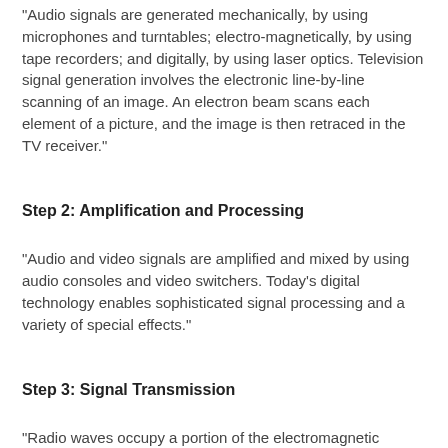"Audio signals are generated mechanically, by using microphones and turntables; electro-magnetically, by using tape recorders; and digitally, by using laser optics. Television signal generation involves the electronic line-by-line scanning of an image. An electron beam scans each element of a picture, and the image is then retraced in the TV receiver."
Step 2: Amplification and Processing
"Audio and video signals are amplified and mixed by using audio consoles and video switchers. Today's digital technology enables sophisticated signal processing and a variety of special effects."
Step 3: Signal Transmission
"Radio waves occupy a portion of the electromagnetic spectrum. AM radio channels are classified into clear, regional, and local channels. FM stations are classified according to power and antenna height. The wide bandwidth